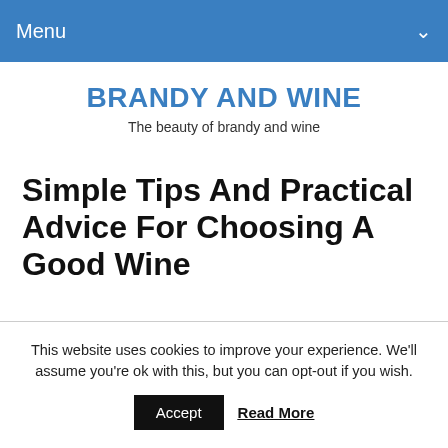Menu
BRANDY AND WINE
The beauty of brandy and wine
Simple Tips And Practical Advice For Choosing A Good Wine
This website uses cookies to improve your experience. We'll assume you're ok with this, but you can opt-out if you wish.
Accept   Read More